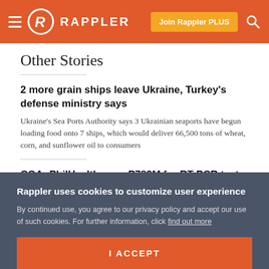Rappler — Join Rappler PLUS
Other Stories
2 more grain ships leave Ukraine, Turkey's defense ministry says
Ukraine's Sea Ports Authority says 3 Ukrainian seaports have begun loading food onto 7 ships, which would deliver 66,500 tons of wheat, corn, and sunflower oil to consumers
COA: PhilHealth pays P782M for RT-PCR tests despite improper documents
State auditors say the documents it reviewed regarding these transactions at the early part of the pandemic were all either
Rappler uses cookies to customize user experience
By continued use, you agree to our privacy policy and accept our use of such cookies. For further information, click find out more
I ACCEPT